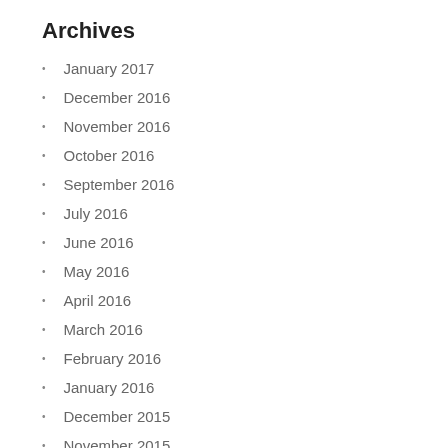Archives
January 2017
December 2016
November 2016
October 2016
September 2016
July 2016
June 2016
May 2016
April 2016
March 2016
February 2016
January 2016
December 2015
November 2015
October 2015
September 2015
August 2015